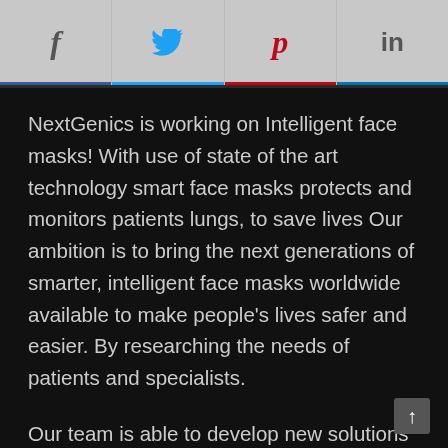f  [twitter]  p  in
NextGenics is working on Intelligent face masks! With use of state of the art technology smart face masks protects and monitors patients lungs, to save lives Our ambition is to bring the next generations of smarter, intelligent face masks worldwide available to make people's lives safer and easier. By researching the needs of patients and specialists.
Our team is able to develop new solutions and features that are qualified and certificated according to European and global